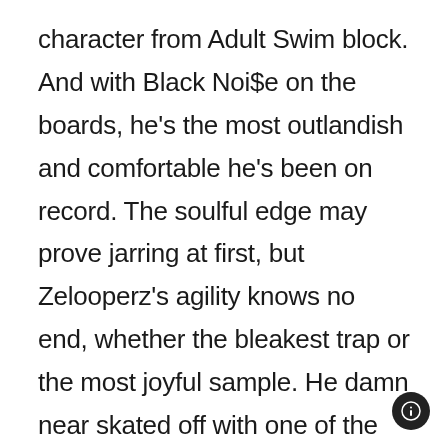character from Adult Swim block. And with Black Noi$e on the boards, he's the most outlandish and comfortable he's been on record. The soulful edge may prove jarring at first, but Zelooperz's agility knows no end, whether the bleakest trap or the most joyful sample. He damn near skated off with one of the best rap records of the year by only banking on himself, in blissful ignorance of whatever the hell else is going on. I'm thankful he's kept that energy from the jump. — MPII